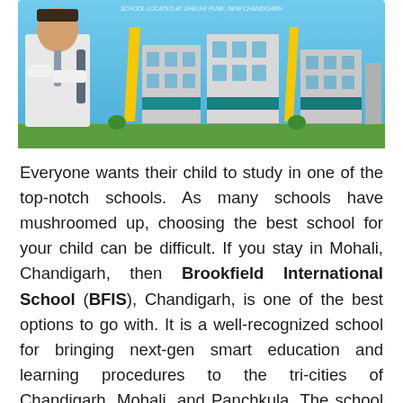[Figure (photo): Promotional image of Brookfield International School building with yellow and grey modern architecture, green lawn, blue sky, and a school student figure in uniform in the foreground. Text at top reads 'SCHOOL LOCATED AT GHEUHI PUNE, NEW CHANDIGARH'.]
Everyone wants their child to study in one of the top-notch schools. As many schools have mushroomed up, choosing the best school for your child can be difficult. If you stay in Mohali, Chandigarh, then Brookfield International School (BFIS), Chandigarh, is one of the best options to go with. It is a well-recognized school for bringing next-gen smart education and learning procedures to the tri-cities of Chandigarh, Mohali, and Panchkula. The school is strategically located just 20 km from Chandigarh. Students of the